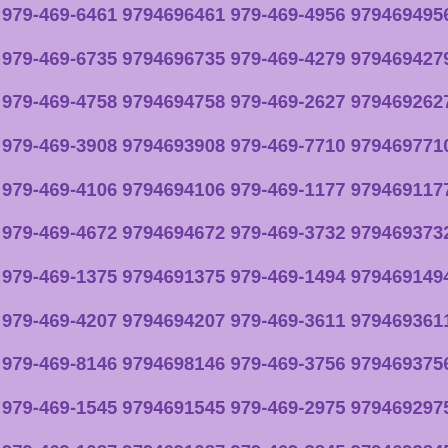979-469-6461 9794696461 979-469-4956 9794694956 979-469-6735 9794696735 979-469-4279 9794694279 979-469-4758 9794694758 979-469-2627 9794692627 979-469-3908 9794693908 979-469-7710 9794697710 979-469-4106 9794694106 979-469-1177 9794691177 979-469-4672 9794694672 979-469-3732 9794693732 979-469-1375 9794691375 979-469-1494 9794691494 979-469-4207 9794694207 979-469-3611 9794693611 979-469-8146 9794698146 979-469-3756 9794693756 979-469-1545 9794691545 979-469-2975 9794692975 979-469-1087 9794691087 979-469-3845 9794693845 979-469-7256 9794697256 979-469-6740 9794696740 979-469-5547 9794695547 979-469-4335 9794694335 979-469-4894 9794694894 979-469-0896 9794690896 979-469-8806 9794698806 979-469-4551 9794694551 979-469-2062 9794692062 979-469-2097 9794692097 979-469-9126 9794699126 979-469-0908 9794690908 979-469-0168 9794690168 979-469-0405 9794690405 979-469-8940 9794698940 979-469-5495 9794695495 979-469-4764 9794694764 979-469-6026 9794696026 979-469-4814 9794694814 979-469-5308 979-469...